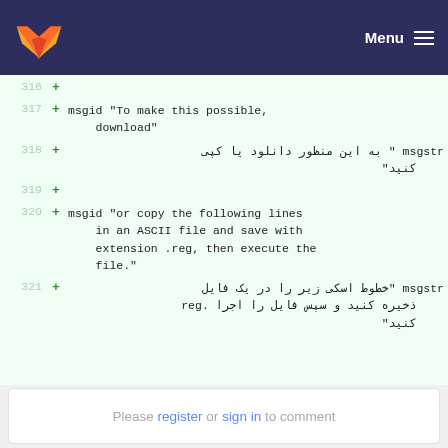GitLab — Menu
316  +
317  + msgid "To make this possible, download"
318  + msgstr " به این منظور دانلود یا کپی کنید"
319  +
320  + msgid "or copy the following lines in an ASCII file and save with extension .reg, then execute the file."
321  + msgstr "خطوط اسکی زیر را در یک فایل ذخیره کنید و سپس فایل را اجرا .reg کنید"
Please register or sign in to comment